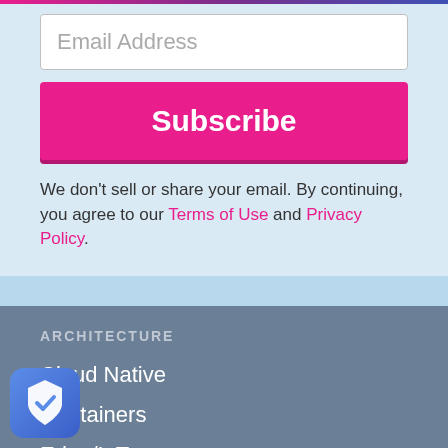Email Address
Subscribe
We don't sell or share your email. By continuing, you agree to our Terms of Use and Privacy Policy.
ARCHITECTURE
Cloud Native
Containers
Edge/IoT
Microservices
Networking